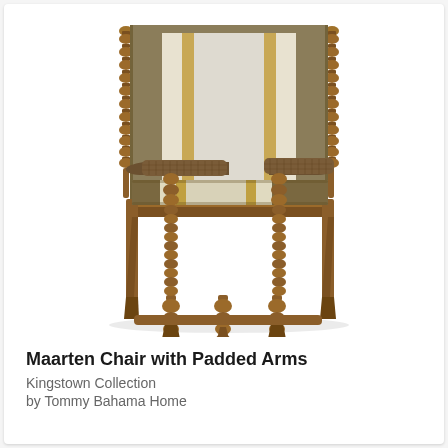[Figure (photo): A Maarten Chair with Padded Arms from the Kingstown Collection by Tommy Bahama Home. The chair features a distinctive bobbin-turned wooden frame in a warm walnut/mahogany finish with ball-shaped spindles along the back posts, armrests, and front legs. The upholstery is a striped fabric in cream, ivory, gold, and olive/taupe tones on both the seat cushion and high back. The armrests are padded with a woven/rattan-textured brown fabric. The chair is photographed against a white background.]
Maarten Chair with Padded Arms
Kingstown Collection
by Tommy Bahama Home